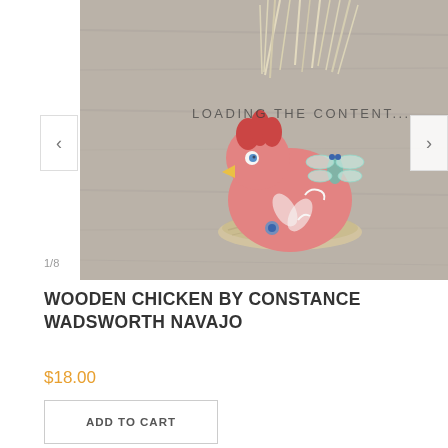[Figure (photo): A painted pink wooden chicken figurine sitting in a raffia nest, with dragonfly and floral decorations, on a gray wood background. Text overlay reads LOADING THE CONTENT...]
1/8
WOODEN CHICKEN BY CONSTANCE WADSWORTH NAVAJO
$18.00
ADD TO CART